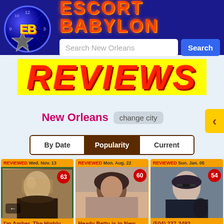[Figure (screenshot): Escort Babylon website header with logo (EB in circle with star), site title 'ESCORT BABYLON', search bar with placeholder 'Search New Orleans', and blue Search button. Dark blue background.]
REVIEWS
New Orleans  change city
By Date  Popularity  Current
[Figure (photo): Profile card: REVIEWED Wed. Nov. 13, badge 63, photo of blonde woman, caption 'I'm Amber..The Highly']
[Figure (photo): Profile card: REVIEWED Mon. Aug. 22, badge 60, photo of dark-haired woman, caption 'Heady Betty is in New']
[Figure (photo): Profile card: REVIEWED Sun. Jan. 05, badge 54, photo of woman with glasses, caption '(504) 237-3493']